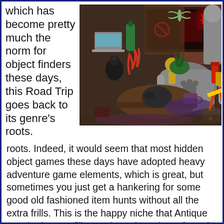which has become pretty much the norm for object finders these days, this Road Trip goes back to its genre's roots.
[Figure (photo): A cluttered hidden object game scene showing a room filled with antiques and miscellaneous items including a laptop, figurines, armchair, fire extinguisher, teapot, mug, briefcase, and other objects.]
Indeed, it would seem that most hidden object games these days have adopted heavy adventure game elements, which is great, but sometimes you just get a hankering for some good old fashioned item hunts without all the extra frills. This is the happy niche that Antique Road Trip USA fills. Further, given the safe and almost non existent story, compared to the common ghost story/murder case plots that run